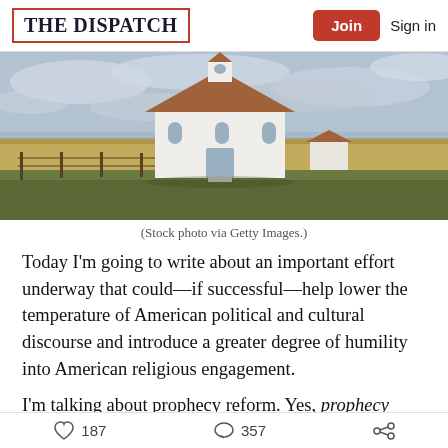THE DISPATCH | Join | Sign in
[Figure (photo): A small white wooden church with a brown roof sits on flat prairie land under a cloudy sky. A small outbuilding is visible to the right.]
(Stock photo via Getty Images.)
Today I'm going to write about an important effort underway that could—if successful—help lower the temperature of American political and cultural discourse and introduce a greater degree of humility into American religious engagement.
I'm talking about prophecy reform. Yes, prophecy
187  357